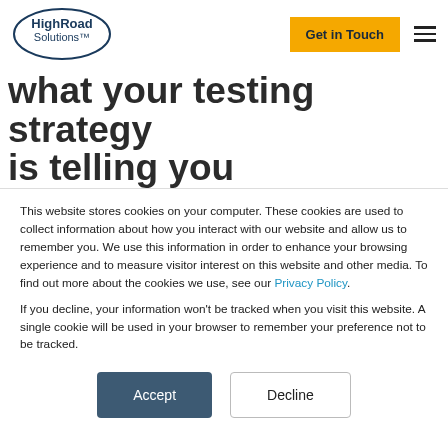HighRoad Solutions | Get in Touch
There's a control for that: what your testing strategy is telling you
This website stores cookies on your computer. These cookies are used to collect information about how you interact with our website and allow us to remember you. We use this information in order to enhance your browsing experience and to measure visitor interest on this website and other media. To find out more about the cookies we use, see our Privacy Policy.
If you decline, your information won't be tracked when you visit this website. A single cookie will be used in your browser to remember your preference not to be tracked.
Accept | Decline